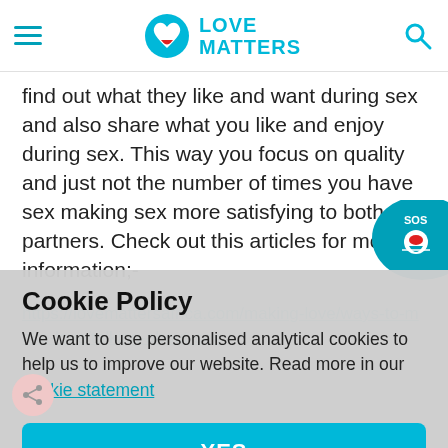Love Matters
find out what they like and want during sex and also share what you like and enjoy during sex. This way you focus on quality and just not the number of times you have sex making sex more satisfying to both partners. Check out this articles for more information;-
https://lovemattersafrica.com/making-love/ways-to-make-love/talking-about-sex
Cookie Policy
We want to use personalised analytical cookies to help us to improve our website. Read more in our cookie statement
YES